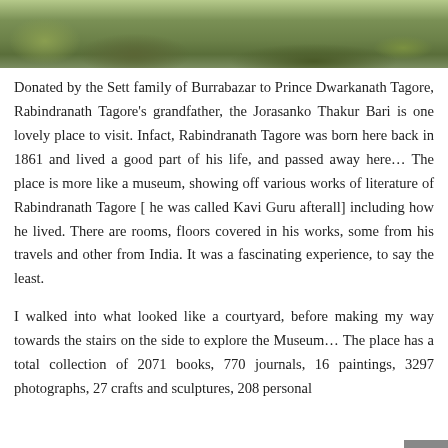[Figure (photo): Bottom portion of an outdoor photo showing green vegetation and ground, likely taken at or near the Jorasanko Thakur Bari grounds.]
Donated by the Sett family of Burrabazar to Prince Dwarkanath Tagore, Rabindranath Tagore's grandfather, the Jorasanko Thakur Bari is one lovely place to visit. Infact, Rabindranath Tagore was born here back in 1861 and lived a good part of his life, and passed away here… The place is more like a museum, showing off various works of literature of Rabindranath Tagore [ he was called Kavi Guru afterall] including how he lived. There are rooms, floors covered in his works, some from his travels and other from India. It was a fascinating experience, to say the least.
I walked into what looked like a courtyard, before making my way towards the stairs on the side to explore the Museum… The place has a total collection of 2071 books, 770 journals, 16 paintings, 3297 photographs, 27 crafts and sculptures, 208 personal